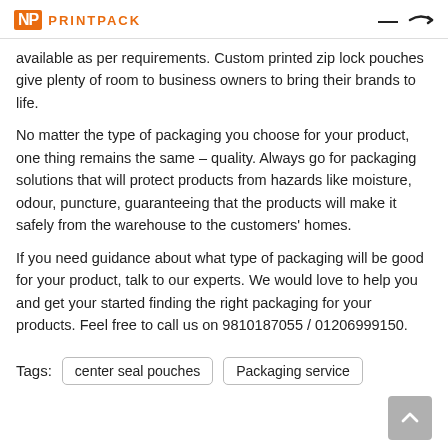NP Printpack
available as per requirements. Custom printed zip lock pouches give plenty of room to business owners to bring their brands to life.
No matter the type of packaging you choose for your product, one thing remains the same – quality. Always go for packaging solutions that will protect products from hazards like moisture, odour, puncture, guaranteeing that the products will make it safely from the warehouse to the customers' homes.
If you need guidance about what type of packaging will be good for your product, talk to our experts. We would love to help you and get your started finding the right packaging for your products. Feel free to call us on 9810187055 / 01206999150.
Tags: center seal pouches  Packaging service